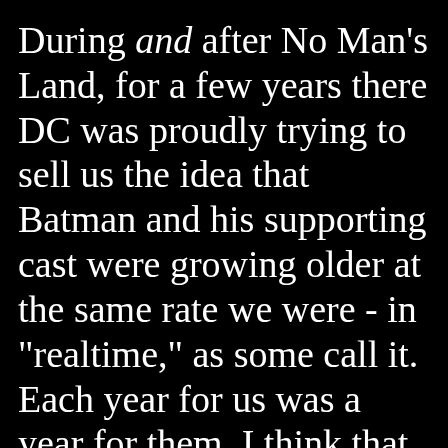During and after No Man's Land, for a few years there DC was proudly trying to sell us the idea that Batman and his supporting cast were growing older at the same rate we were - in "realtime," as some call it. Each year for us was a year for them. I think that lasted at least two and a half years, maybe longer, before someone came to his senses and the whole idea...